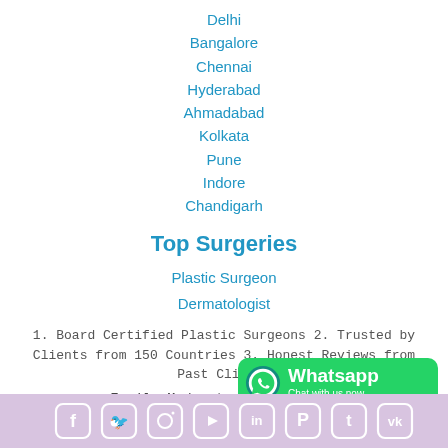Delhi
Bangalore
Chennai
Hyderabad
Ahmadabad
Kolkata
Pune
Indore
Chandigarh
Top Surgeries
Plastic Surgeon
Dermatologist
1. Board Certified Plastic Surgeons 2. Trusted by Clients from 150 Countries 3. Honest Reviews from Past Clients
Email: Medcontours@Gmail.com
[Figure (infographic): WhatsApp Chat with us now button (green rounded rectangle with WhatsApp logo)]
[Figure (infographic): Social media icons row (Facebook, Twitter, Instagram, YouTube, LinkedIn, Pinterest, Tumblr, VK) on a lavender/purple footer bar]